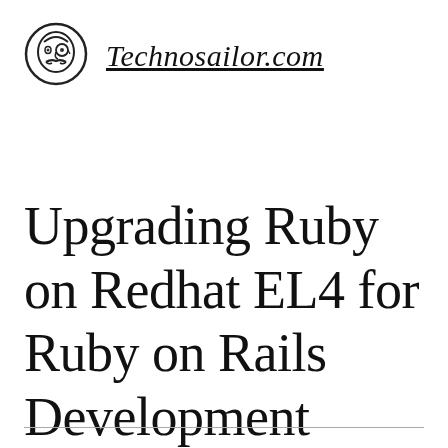[Figure (logo): Technosailor.com logo: circular icon with illustrated face wearing monocle and mustache]
Technosailor.com
Upgrading Ruby on Redhat EL4 for Ruby on Rails Development